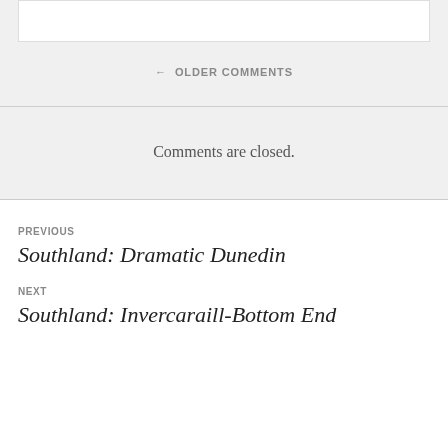← OLDER COMMENTS
Comments are closed.
PREVIOUS
Southland: Dramatic Dunedin
NEXT
Southland: Invercaraill-Bottom End